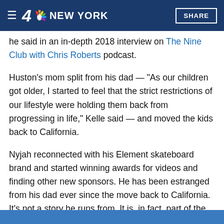4 NBC NEW YORK  SHARE
he said in an in-depth 2018 interview on The Nine Club with Chris Roberts podcast.
Huston's mom split from his dad — "As our children got older, I started to feel that the strict restrictions of our lifestyle were holding them back from progressing in life," Kelle said — and moved the kids back to California.
Nyjah reconnected with his Element skateboard brand and started winning awards for videos and finding other new sponsors. He has been estranged from his dad ever since the move back to California. It's not a story he runs from. It is, in fact, part of the biography that he himself submitted to NBC for a Q&A on its Olympic website.